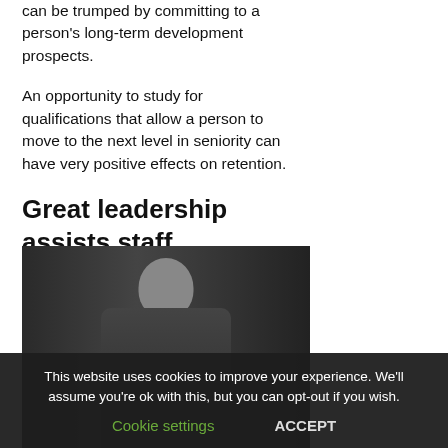can be trumped by committing to a person's long-term development prospects.
An opportunity to study for qualifications that allow a person to move to the next level in seniority can have very positive effects on retention.
Great leadership assists staff retention
[Figure (photo): Black and white photograph of a man in a suit, appearing to speak into a microphone or hold something to his mouth, with dark curtains in the background.]
This website uses cookies to improve your experience. We'll assume you're ok with this, but you can opt-out if you wish.
Cookie settings    ACCEPT